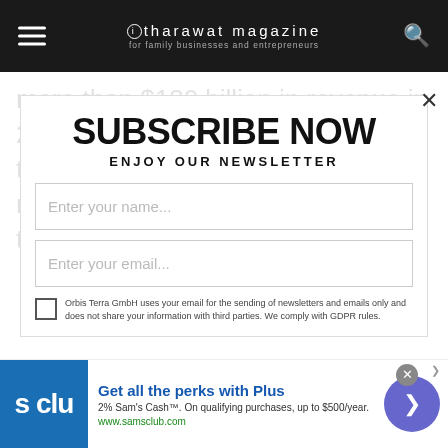tharawat magazine for family businesses and entrepreneurs
more than $180 billion in revenue in 2019. Headquartered in Dallas in the US, the company can trace its roots right back to the inventor of the
SUBSCRIBE NOW
ENJOY OUR NEWSLETTER
Enter your name...
Enter your email...
Orbis Terra GmbH uses your email for the sending of newsletters and emails only and does not share your information with third parties. We comply with GDPR rules.
Get all the perks with Plus
2% Sam's Cash™. On qualifying purchases, up to $500/year.
www.samsclub.com